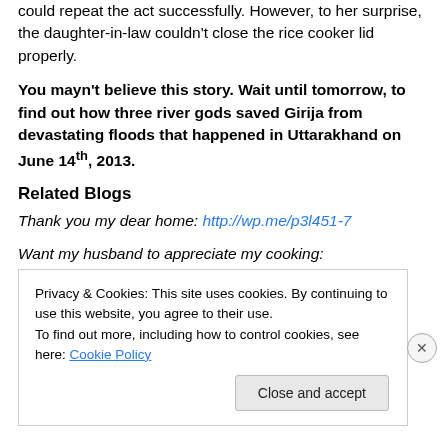could repeat the act successfully. However, to her surprise, the daughter-in-law couldn't close the rice cooker lid properly.
You mayn't believe this story. Wait until tomorrow, to find out how three river gods saved Girija from devastating floods that happened in Uttarakhand on June 14th, 2013.
Related Blogs
Thank you my dear home: http://wp.me/p3l451-7
Want my husband to appreciate my cooking:
Privacy & Cookies: This site uses cookies. By continuing to use this website, you agree to their use. To find out more, including how to control cookies, see here: Cookie Policy
Close and accept